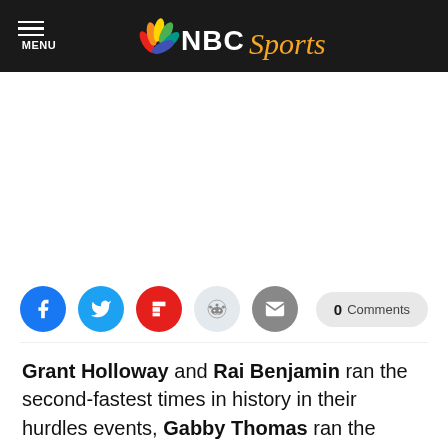NBC Sports — MENU
[Figure (other): Social sharing icons: Facebook, Twitter, Flipboard, Reddit, Email, and a 0 Comments button]
Grant Holloway and Rai Benjamin ran the second-fastest times in history in their hurdles events, Gabby Thomas ran the third-fastest 200m ever, a Usain Bolt record fell and a pair of Olympic gold medalists